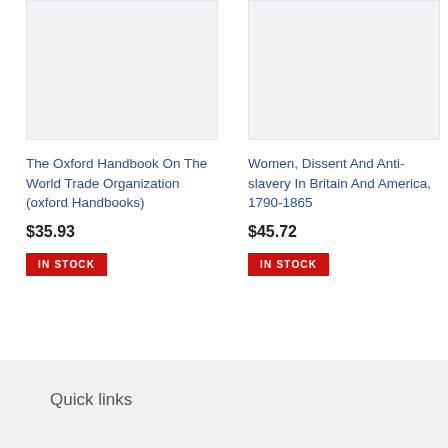[Figure (other): Book cover placeholder image for The Oxford Handbook On The World Trade Organization]
The Oxford Handbook On The World Trade Organization (oxford Handbooks)
$35.93
IN STOCK
[Figure (other): Book cover placeholder image for Women, Dissent And Anti-slavery In Britain And America, 1790-1865]
Women, Dissent And Anti-slavery In Britain And America, 1790-1865
$45.72
IN STOCK
Quick links